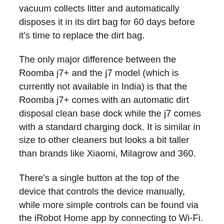vacuum collects litter and automatically disposes it in its dirt bag for 60 days before it's time to replace the dirt bag.
The only major difference between the Roomba j7+ and the j7 model (which is currently not available in India) is that the Roomba j7+ comes with an automatic dirt disposal clean base dock while the j7 comes with a standard charging dock. It is similar in size to other cleaners but looks a bit taller than brands like Xiaomi, Milagrow and 360.
There's a single button at the top of the device that controls the device manually, while more simple controls can be found via the iRobot Home app by connecting to Wi-Fi. Other devices get a removable top lid, but the Roomba J7 instead gets a removable dust bin on the side. A flexible bumper has been given at the front so that it can withstand the shocks of a collision. Apart from this, there is a primary camera and